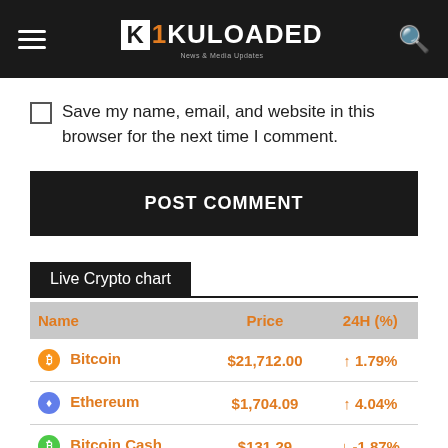KULOADED
Save my name, email, and website in this browser for the next time I comment.
POST COMMENT
Live Crypto chart
| Name | Price | 24H (%) |
| --- | --- | --- |
| Bitcoin | $21,712.00 | ↑ 1.79% |
| Ethereum | $1,704.09 | ↑ 4.04% |
| Bitcoin Cash | $131.29 | ↓ -1.87% |